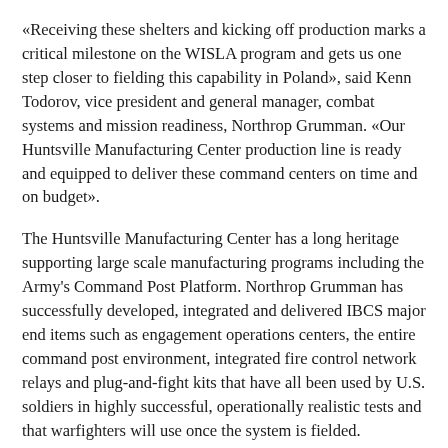«Receiving these shelters and kicking off production marks a critical milestone on the WISLA program and gets us one step closer to fielding this capability in Poland», said Kenn Todorov, vice president and general manager, combat systems and mission readiness, Northrop Grumman. «Our Huntsville Manufacturing Center production line is ready and equipped to deliver these command centers on time and on budget».
The Huntsville Manufacturing Center has a long heritage supporting large scale manufacturing programs including the Army's Command Post Platform. Northrop Grumman has successfully developed, integrated and delivered IBCS major end items such as engagement operations centers, the entire command post environment, integrated fire control network relays and plug-and-fight kits that have all been used by U.S. soldiers in highly successful, operationally realistic tests and that warfighters will use once the system is fielded.